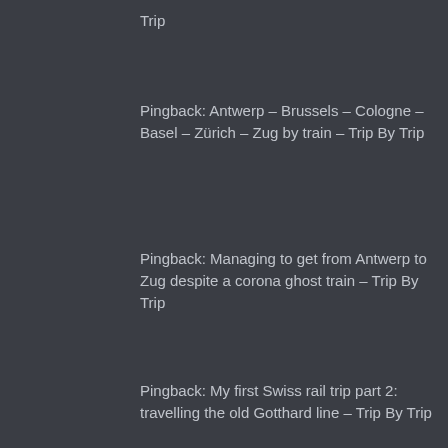Trip
Pingback: Antwerp – Brussels – Cologne – Basel – Zürich – Zug by train – Trip By Trip
Pingback: Managing to get from Antwerp to Zug despite a corona ghost train – Trip By Trip
Pingback: My first Swiss rail trip part 2: travelling the old Gotthard line – Trip By Trip